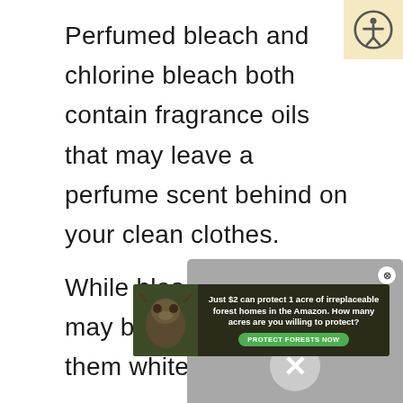Perfumed bleach and chlorine bleach both contain fragrance oils that may leave a perfume scent behind on your clean clothes.
While bleaching your sheets may be a good way to get them white and
[Figure (screenshot): Popup overlay with close button (X) showing ad page source or media message, with large X dismiss button in center. Background is grey/blurred.]
[Figure (photo): Banner advertisement: sloth image on dark green/brown background. Text reads 'Just $2 can protect 1 acre of irreplaceable forest homes in the Amazon. How many acres are you willing to protect?' with green 'PROTECT FORESTS NOW' button.]